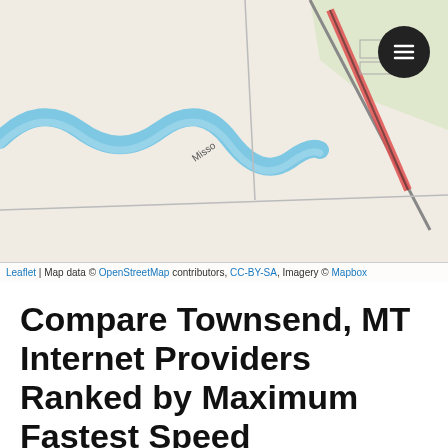[Figure (map): OpenStreetMap tile showing Townsend, MT area with a river (Missouri) in blue, roads, and a highlighted road segment in red/orange. A circular menu button is visible in the top-right corner.]
Leaflet | Map data © OpenStreetMap contributors, CC-BY-SA, Imagery © Mapbox
Compare Townsend, MT Internet Providers Ranked by Maximum Fastest Speed
|  | Provider | Max Mbps Download | Type |
| --- | --- | --- | --- |
| 1. | Viasat | 150 Mbps | Satellite Intern |
| 2. | Spectrum | 100 Mbps | Cable Internet, |